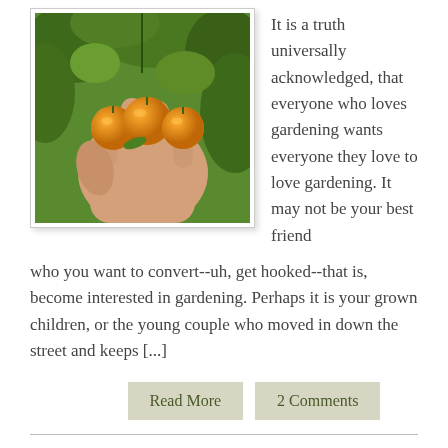[Figure (photo): A hand holding three small orange/yellow cherry tomatoes against a green garden background]
It is a truth universally acknowledged, that everyone who loves gardening wants everyone they love to love gardening. It may not be your best friend who you want to convert--uh, get hooked--that is, become interested in gardening. Perhaps it is your grown children, or the young couple who moved in down the street and keeps [...]
Read More
2 Comments
Make That Lingering